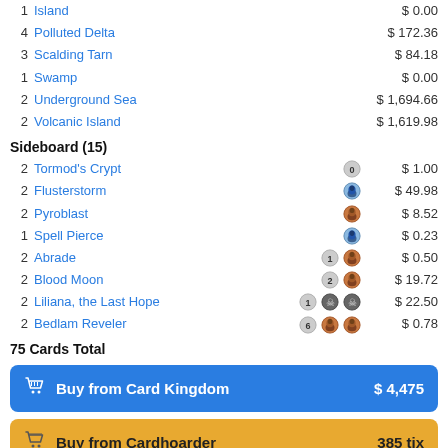1 Island $0.00
4 Polluted Delta $172.36
3 Scalding Tarn $84.18
1 Swamp $0.00
2 Underground Sea $1,694.66
2 Volcanic Island $1,619.98
Sideboard (15)
2 Tormod's Crypt [0] $1.00
2 Flusterstorm [U] $49.98
2 Pyroblast [R] $8.52
1 Spell Pierce [U] $0.23
2 Abrade [1][R] $0.50
2 Blood Moon [2][R] $19.72
2 Liliana, the Last Hope [1][B][B] $22.50
2 Bedlam Reveler [6][R][R] $0.78
75 Cards Total
Buy from Card Kingdom $4,475
Buy from Cardhoarder 385 tix